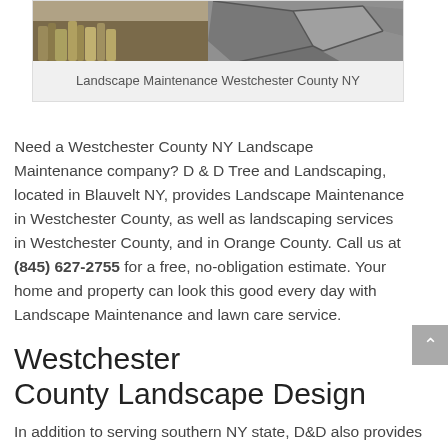[Figure (photo): Landscape maintenance photo showing stone pathway with ornamental grasses and flagstone paving in Westchester County NY]
Landscape Maintenance Westchester County NY
Need a Westchester County NY Landscape Maintenance company? D & D Tree and Landscaping, located in Blauvelt NY, provides Landscape Maintenance in Westchester County, as well as landscaping services in Westchester County, and in Orange County. Call us at (845) 627-2755 for a free, no-obligation estimate. Your home and property can look this good every day with Landscape Maintenance and lawn care service.
Westchester County Landscape Design
In addition to serving southern NY state, D&D also provides Landscape Maintenance in Bergen County